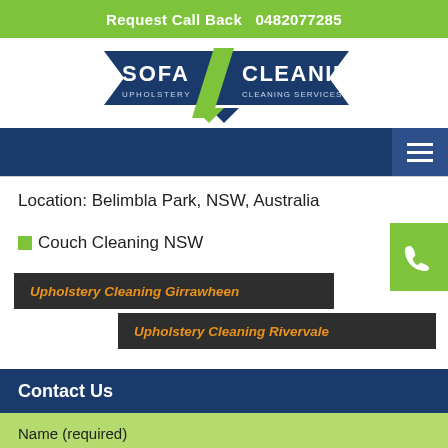Request Call Back  0482077285
[Figure (logo): Sofa Cleaning Upholstery Cleaning Services logo with dark blue pentagon shapes and green accent]
Location: Belimbla Park, NSW, Australia
Couch Cleaning NSW
Upholstery Cleaning Girrawheen
Upholstery Cleaning Rivervale
Contact Us
Name (required)
Email (required)